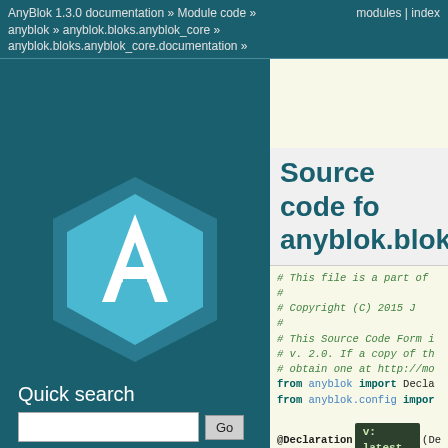AnyBlok 1.3.0 documentation » Module code »    modules | index
anyblok » anyblok.bloks.anyblok_core »
anyblok.bloks.anyblok_core.documentation »
[Figure (logo): AnyBlok logo: dark teal hexagon with light blue inner hexagon and white letter A]
Quick search
Source code for anyblok.bloks.a…
# This file is a part of
#
#    Copyright (C) 2015 J
#
# This Source Code Form i
# v. 2.0. If a copy of th
# obtain one at http://mo
from anyblok import Decla
from anyblok.config impor

@Declaration…(De
class Model…ns.

    def __init__(self, mo
    self.model = mode